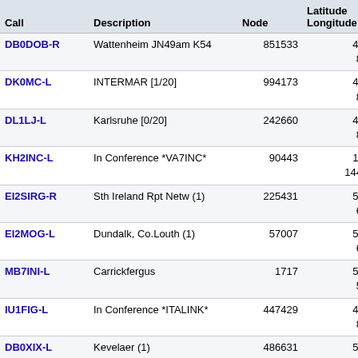| Call | Description | Node | Latitude Longitude | Grid Square | Dis (mi |
| --- | --- | --- | --- | --- | --- |
| DB0DOB-R | Wattenheim JN49am K54 | 851533 | 49°58.63' N 8°09.91' W | IN59wx | 404 |
| DK0MC-L | INTERMAR [1/20] | 994173 | 49°00.00' N 8°00.00' W | IN69aa | 406 |
| DL1LJ-L | Karlsruhe [0/20] | 242660 | 49°00.00' N 8°00.00' W | IN69aa | 406 |
| KH2INC-L | In Conference *VA7INC* | 90443 | 13°40.00' N 144°07.02' W | BK73wg | 406 |
| EI2SIRG-R | Sth Ireland Rpt Netw (1) | 225431 | 52°37.03' N 6°46.44' W | IO62oo | 407 |
| EI2MOG-L | Dundalk, Co.Louth (1) | 57007 | 54°03.01' N 6°23.00' W | IO64tb | 408 |
| MB7INI-L | Carrickfergus | 1717 | 54°43.24' N 5°49.58' W | IO74cr | 409 |
| IU1FIG-L | In Conference *ITALINK* | 447429 | 44°36.66' N 8°27.84' W | IN54so | 409 |
| DB0XIX-L | Kevelaer (1) | 486631 | 51°34.90' N 6°14.61' W | IO61vn | 411 |
| ED1YAX-L | Pasarela-FRN | 830086 | 43°27.60' N 8°08.87' W | IN53wl | 413 |
| HB9AW-R | Sursee, www.HB9AW.CH | 6879 | 47°06.97' N 6°59.07' W | IN67mc | 413 |
| MB7IRU-L | Loch Lomond (1) | 357082 | 55°58.40' N | IO75ru | 414 |